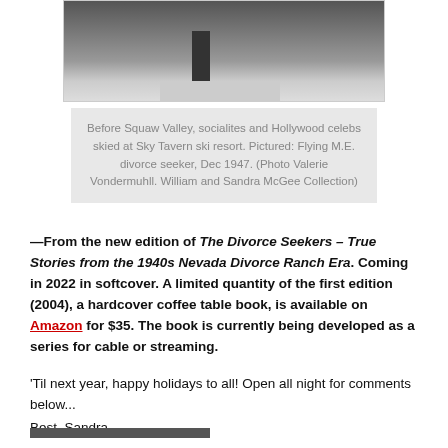[Figure (photo): Black and white photo showing a person on skis in the snow, with ski poles visible.]
Before Squaw Valley, socialites and Hollywood celebs skied at Sky Tavern ski resort. Pictured: Flying M.E. divorce seeker, Dec 1947. (Photo Valerie Vondermuhll. William and Sandra McGee Collection)
—From the new edition of The Divorce Seekers – True Stories from the 1940s Nevada Divorce Ranch Era. Coming in 2022 in softcover. A limited quantity of the first edition (2004), a hardcover coffee table book, is available on Amazon for $35. The book is currently being developed as a series for cable or streaming.
'Til next year, happy holidays to all! Open all night for comments below...
Best, Sandra